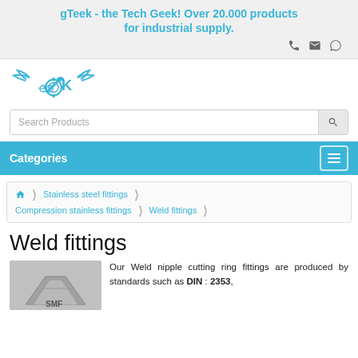gTeek - the Tech Geek! Over 20.000 products for industrial supply.
[Figure (logo): gTeek company logo with stylized wrench and gear icon in blue]
Search Products
Categories
Stainless steel fittings  Compression stainless fittings  Weld fittings
Weld fittings
Our Weld nipple cutting ring fittings are produced by standards such as DIN : 2353,